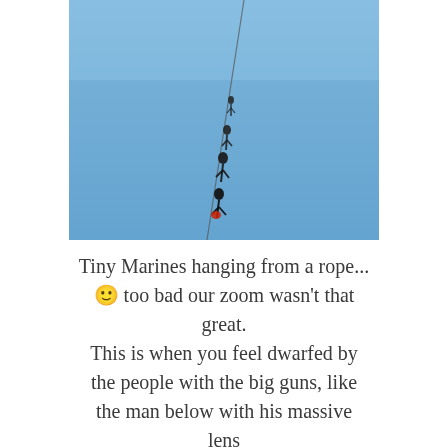[Figure (photo): A blue sky photograph showing figures (Marines) hanging from a rope or cable, small and silhouetted against the clear blue sky. A thin diagonal line (the rope/cable) runs from upper right to lower center of the image, with several small dark human figures clinging to it, the lowest one appearing to have a red element.]
Tiny Marines hanging from a rope... 🙂 too bad our zoom wasn't that great. This is when you feel dwarfed by the people with the big guns, like the man below with his massive lens